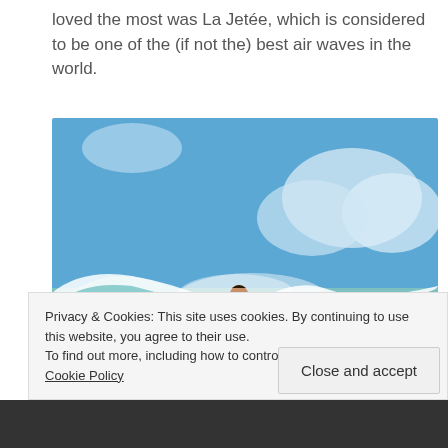loved the most was La Jetée, which is considered to be one of the (if not the) best air waves in the world.
[Figure (photo): A surfer performing a high aerial maneuver above a large wave against a blue sky with clouds. The surfer is wearing a black wetsuit and is airborne with the surfboard beneath them.]
Privacy & Cookies: This site uses cookies. By continuing to use this website, you agree to their use. To find out more, including how to control cookies, see here: Cookie Policy
Close and accept